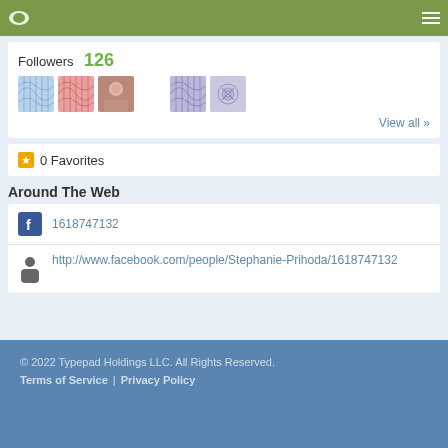Typepad navigation header
Followers 126
[Figure (photo): Row of 5 follower avatar thumbnails: blue geometric pattern, red geometric pattern, woman photo, purple geometric pattern, spiral pattern]
View all »
0 Favorites
Around The Web
1618747132
http://www.facebook.com/people/Stephanie-Prihoda/1618747132
© 2022 Typepad Holdings LLC. All Rights Reserved. Terms of Service | Privacy Policy